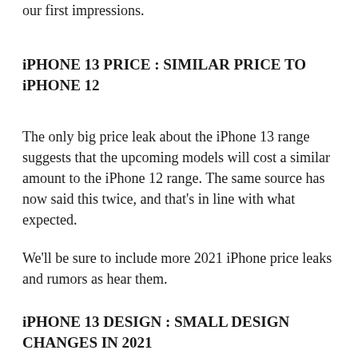our first impressions.
iPHONE 13 PRICE : SIMILAR PRICE TO iPHONE 12
The only big price leak about the iPhone 13 range suggests that the upcoming models will cost a similar amount to the iPhone 12 range. The same source has now said this twice, and that's in line with what expected.
We'll be sure to include more 2021 iPhone price leaks and rumors as hear them.
iPHONE 13 DESIGN : SMALL DESIGN CHANGES IN 2021